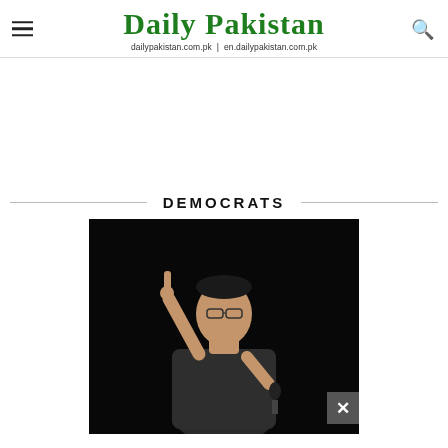Daily Pakistan
dailypakistan.com.pk | en.dailypakistan.com.pk
DEMOCRATS
[Figure (photo): A person (Imran Khan) in a dark outfit holding a microphone, pointing one finger upward, speaking at a rally against a dark background.]